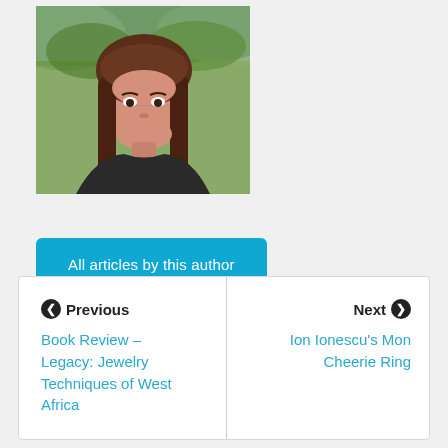[Figure (photo): Headshot of a woman with long brown hair, smiling, wearing a dark top and a pendant necklace, outdoors with green foliage in background.]
All articles by this author
Previous
Book Review – Legacy: Jewelry Techniques of West Africa
Next
Ion Ionescu's Mon Cheerie Ring